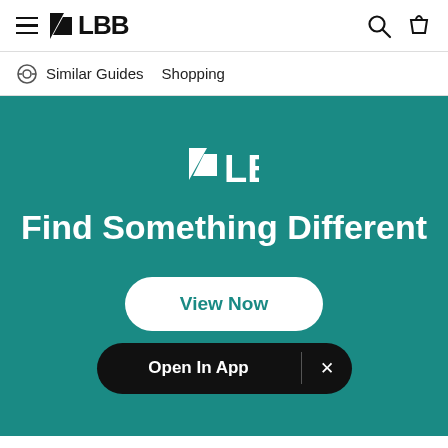≡ LBB [Search] [Bag]
Similar Guides   Shopping
[Figure (infographic): LBB promotional banner on teal background with logo, tagline 'Find Something Different', 'View Now' button, and 'Open In App' bar]
Find Something Different
View Now
Open In App  ×